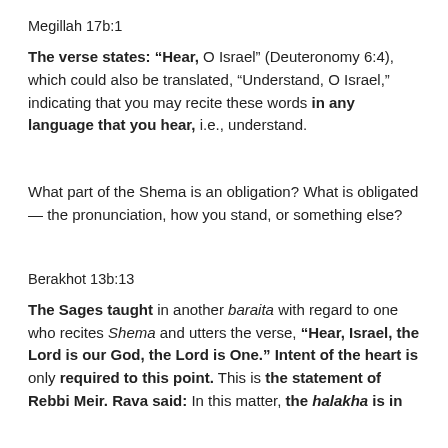Megillah 17b:1
The verse states: “Hear, O Israel” (Deuteronomy 6:4), which could also be translated, “Understand, O Israel,” indicating that you may recite these words in any language that you hear, i.e., understand.
What part of the Shema is an obligation? What is obligated — the pronunciation, how you stand, or something else?
Berakhot 13b:13
The Sages taught in another baraita with regard to one who recites Shema and utters the verse, “Hear, Israel, the Lord is our God, the Lord is One.” Intent of the heart is only required to this point. This is the statement of Rebbi Meir. Rava said: In this matter, the halakha is in